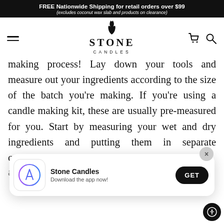FREE Nationwide Shipping for retail orders over $99 (excludes coconut wax slab and products on clearance)
[Figure (logo): Stone Candles logo with decorative flame/smoke curl above the word STONE and CANDLES below]
making process! Lay down your tools and measure out your ingredients according to the size of the batch you're making. If you're using a candle making kit, these are usually pre-measured for you. Start by measuring your wet and dry ingredients and putting them in separate containers. This
[Figure (screenshot): App install banner overlay showing Stone Candles app icon, 'Stone Candles' app name, 'Download the app now!' subtitle, and a black GET button, with an X close button]
them